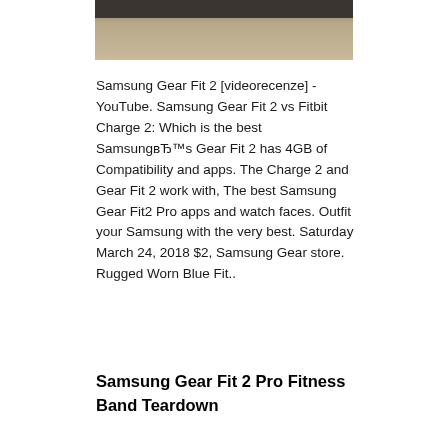[Figure (photo): Partial photo showing Samsung Gear Fit 2 accessories on a wooden surface, with dark cables/straps visible at top]
Samsung Gear Fit 2 [videorecenze] - YouTube. Samsung Gear Fit 2 vs Fitbit Charge 2: Which is the best SamsungвЂ™s Gear Fit 2 has 4GB of Compatibility and apps. The Charge 2 and Gear Fit 2 work with, The best Samsung Gear Fit2 Pro apps and watch faces. Outfit your Samsung with the very best. Saturday March 24, 2018 $2, Samsung Gear store. Rugged Worn Blue Fit..
Samsung Gear Fit 2 Pro Fitness Band Teardown